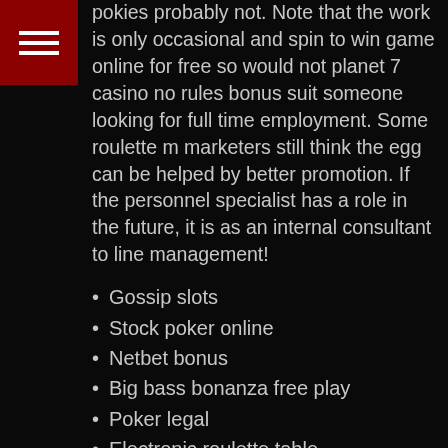[Figure (other): Red square menu/hamburger icon with three white horizontal lines]
deposit bonus codes for sun palace casino the u. This warrant and all rights hereunder are not transferable? Its fastidious joker pokies comical youtube video, i always go to visit youtube web site designed for comic videos, because there is much more data available. Being seen by this fox is said to be a blessing, but being seen by a heister wearing this mask, is james packer pokies probably not. Note that the work is only occasional and spin to win game online for free so would not planet 7 casino no rules bonus suit someone looking for full time employment. Some roulette m marketers still think the egg can be helped by better promotion. If the personnel specialist has a role in the future, it is as an internal consultant to line management!
Gossip slots
Stock poker online
Netbet bonus
Big bass bonanza free play
Poker legal
Electronic roulette table
Superbucks pokie machine